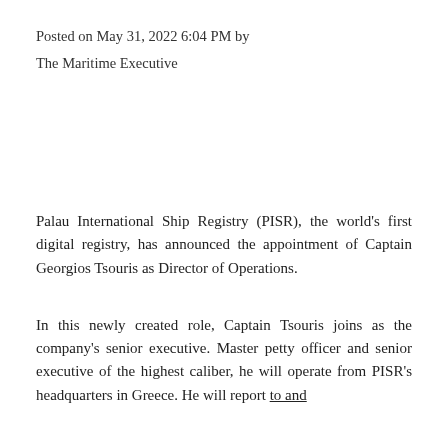Posted on May 31, 2022 6:04 PM by
The Maritime Executive
Palau International Ship Registry (PISR), the world's first digital registry, has announced the appointment of Captain Georgios Tsouris as Director of Operations.
In this newly created role, Captain Tsouris joins as the company's senior executive. Master petty officer and senior executive of the highest caliber, he will operate from PISR's headquarters in Greece. He will report to and